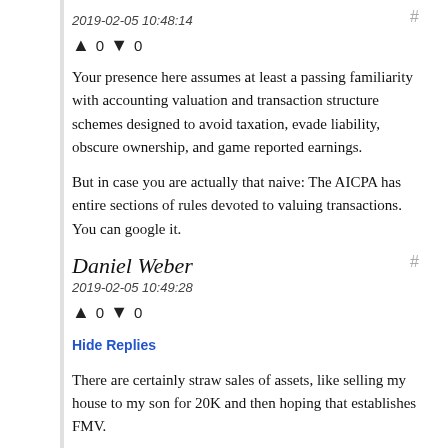2019-02-05 10:48:14
↑ 0 ↓ 0
Your presence here assumes at least a passing familiarity with accounting valuation and transaction structure schemes designed to avoid taxation, evade liability, obscure ownership, and game reported earnings.
But in case you are actually that naive: The AICPA has entire sections of rules devoted to valuing transactions. You can google it.
Daniel Weber
2019-02-05 10:49:28
↑ 0 ↓ 0
Hide Replies
There are certainly straw sales of assets, like selling my house to my son for 20K and then hoping that establishes FMV.